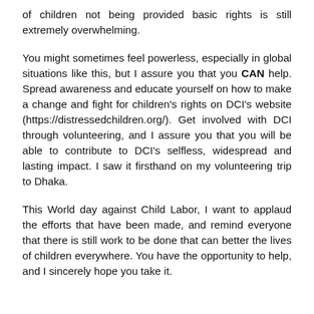of children not being provided basic rights is still extremely overwhelming.
You might sometimes feel powerless, especially in global situations like this, but I assure you that you CAN help. Spread awareness and educate yourself on how to make a change and fight for children's rights on DCI's website (https://distressedchildren.org/). Get involved with DCI through volunteering, and I assure you that you will be able to contribute to DCI's selfless, widespread and lasting impact. I saw it firsthand on my volunteering trip to Dhaka.
This World day against Child Labor, I want to applaud the efforts that have been made, and remind everyone that there is still work to be done that can better the lives of children everywhere. You have the opportunity to help, and I sincerely hope you take it.